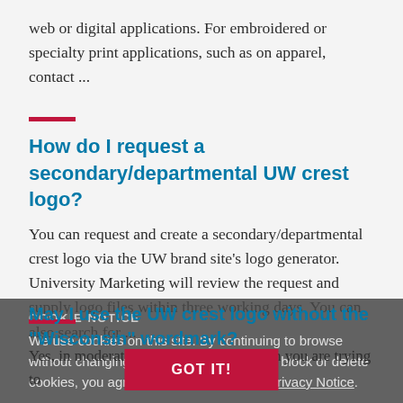web or digital applications. For embroidered or specialty print applications, such as on apparel, contact ...
How do I request a secondary/departmental UW crest logo?
You can request and create a secondary/departmental crest logo via the UW brand site’s logo generator. University Marketing will review the request and supply logo files within three working days. You can also search for ...
May I use the UW crest logo without the “Wisconsin” wordmark?
Yes, in moderation — for example, when you are trying to
COOKIE NOTICE
We use cookies on this site. By continuing to browse without changing your browser settings to block or delete cookies, you agree to the UW–Madison Privacy Notice.